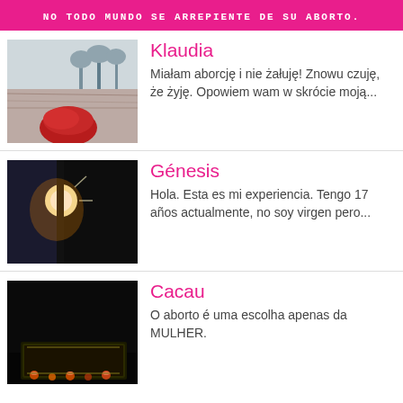No todo mundo se arrepiente de su aborto.
[Figure (photo): Outdoor photo of a person with red hair in a field with dry grass and trees in background]
Klaudia
Miałam aborcję i nie żałuję! Znowu czuję, że żyję. Opowiem wam w skrócie moją...
[Figure (photo): Dark photo with sunlight/bright light visible against a dark silhouette background]
Génesis
Hola. Esta es mi experiencia. Tengo 17 años actualmente, no soy virgen pero...
[Figure (photo): Dark/black image with what appears to be a framed picture or artwork visible at the bottom]
Cacau
O aborto é uma escolha apenas da MULHER.